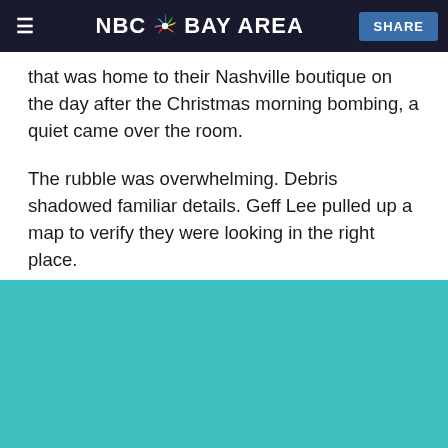NBC BAY AREA  SHARE
that was home to their Nashville boutique on the day after the Christmas morning bombing, a quiet came over the room.
The rubble was overwhelming. Debris shadowed familiar details. Geff Lee pulled up a map to verify they were looking in the right place.
“That moment? It was silence. It was an eye-opener,” Sandy Lee said, owner of Ensemble. “It was blown up.”
[Figure (photo): Teal/turquoise colored background image placeholder at the bottom of the page]